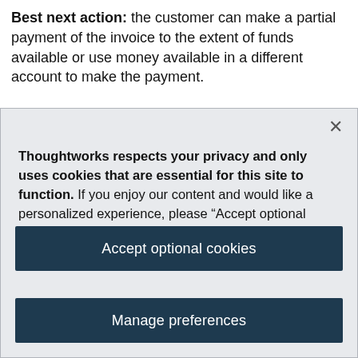Best next action: the customer can make a partial payment of the invoice to the extent of funds available or use money available in a different account to make the payment.
Thoughtworks respects your privacy and only uses cookies that are essential for this site to function. If you enjoy our content and would like a personalized experience, please “Accept optional cookies”. You can manage or revoke consent at any time. Privacy policy
Accept optional cookies
Manage preferences